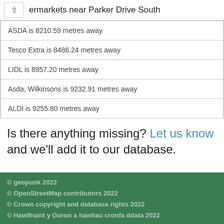ermarkets near Parker Drive South
ASDA is 8210.59 metres away
Tesco Extra is 8486.24 metres away
LIDL is 8957.20 metres away
Asda, Wilkinsons is 9232.91 metres away
ALDI is 9255.80 metres away
Is there anything missing? Let us know and we'll add it to our database.
© geopunk 2022
© OpenStreetMap contributors 2022
© Crown copyright and database rights 2022
© Hawlfraint y Goron a hawliau cronfa ddata 2022